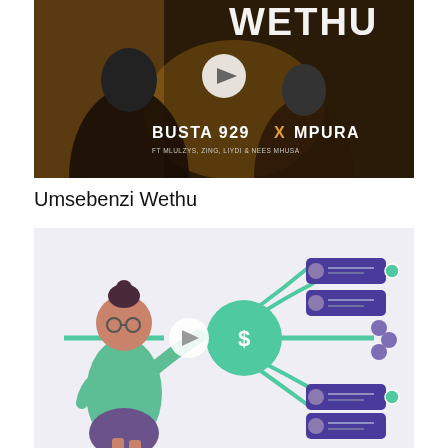[Figure (photo): Music video thumbnail showing two men with text 'BUSTA 929 X MPURA' and subtitle text, dark brown background with play button overlay. Text also reads 'WETHU' at top.]
Umsebenzi Wethu
[Figure (illustration): Animated illustration of a woman in green shirt and purple skirt with glasses pointing, next to a mind-map / network diagram with green circles, purple profile card nodes, a central green logo circle, and connecting curved lines. Play button in center-left area.]